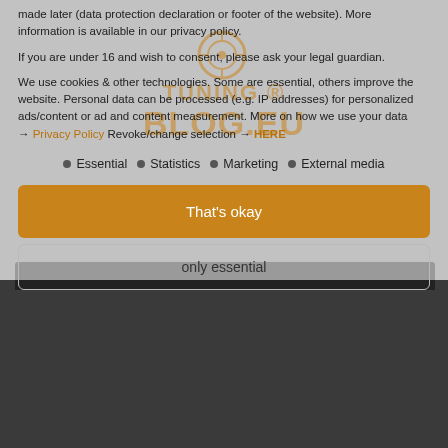made later (data protection declaration or footer of the website). More information is available in our privacy policy.
If you are under 16 and wish to consent, please ask your legal guardian.
We use cookies & other technologies. Some are essential, others improve the website. Personal data can be processed (e.g. IP addresses) for personalized ads/content or ad and content measurement. More on how we use your data → Privacy Policy Revoke/change selection → HERE
Essential
Statistics
Marketing
External media
That's okay
only essential
[Figure (logo): Tuning Blog EU logo with circular tire/wheel graphic, orange text reading TUNING BLOG.EU]